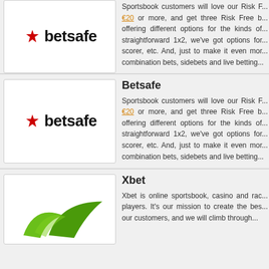[Figure (logo): Betsafe logo with red asterisk/star icon and bold text 'betsafe']
Sportsbook customers will love our Risk F... €20 or more, and get three Risk Free b... offering different options for the kinds of... straightforward 1x2, we've got options for... scorer, etc. And, just to make it even mor... combination bets, sidebets and live betting...
Betsafe
Sportsbook customers will love our Risk F... €20 or more, and get three Risk Free b... offering different options for the kinds of... straightforward 1x2, we've got options for... scorer, etc. And, just to make it even mor... combination bets, sidebets and live betting...
[Figure (logo): Betsafe logo with red asterisk/star icon and bold text 'betsafe']
Xbet
Xbet is online sportsbook, casino and rac... players. It's our mission to create the bes... our customers, and we will climb through...
[Figure (logo): Xbet logo with green checkmark/swoosh graphic]